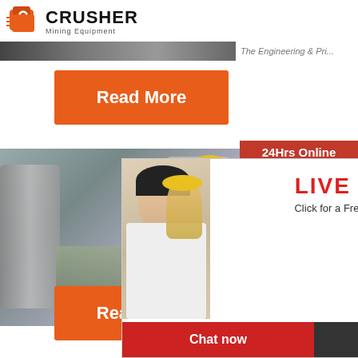[Figure (logo): Crusher Mining Equipment logo with shopping bag icon]
[Figure (photo): Dark industrial/mining equipment photo strip with text 'The Engineering & Pri...']
[Figure (other): Orange Read More button]
[Figure (photo): Main photo of industrial equipment and workers in yellow hard hats]
[Figure (other): Live Chat overlay popup with workers photo, LIVE CHAT title, Click for a Free Consultation, Chat now and Chat later buttons]
Materia
2016-9-9
[Figure (other): Orange Read More button (second)]
[Figure (other): Right sidebar: 24Hrs Online, agent photo, Need questions & suggestion?, Chat Now button, Enquiry, limingjlmofen@sina.com]